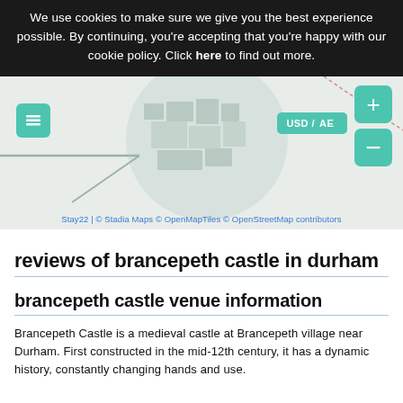We use cookies to make sure we give you the best experience possible. By continuing, you're accepting that you're happy with our cookie policy. Click here to find out more.
[Figure (map): Partial map screenshot showing Brancepeth Castle area with teal UI buttons for layers, zoom in (+), zoom out (-), and a USD/currency badge. Map attribution: Stay22 | © Stadia Maps © OpenMapTiles © OpenStreetMap contributors]
Stay22 | © Stadia Maps © OpenMapTiles © OpenStreetMap contributors
reviews of brancepeth castle in durham
brancepeth castle venue information
Brancepeth Castle is a medieval castle at Brancepeth village near Durham. First constructed in the mid-12th century, it has a dynamic history, constantly changing hands and use.